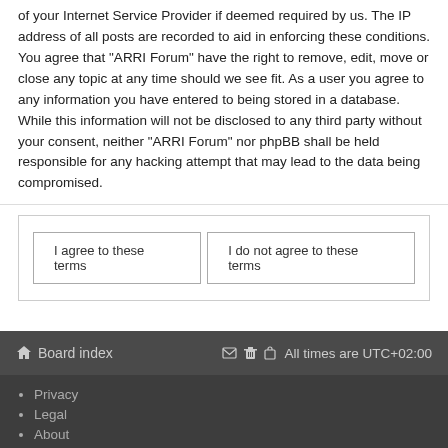of your Internet Service Provider if deemed required by us. The IP address of all posts are recorded to aid in enforcing these conditions. You agree that "ARRI Forum" have the right to remove, edit, move or close any topic at any time should we see fit. As a user you agree to any information you have entered to being stored in a database. While this information will not be disclosed to any third party without your consent, neither "ARRI Forum" nor phpBB shall be held responsible for any hacking attempt that may lead to the data being compromised.
I agree to these terms | I do not agree to these terms
Board index | All times are UTC+02:00
Privacy
Legal
About